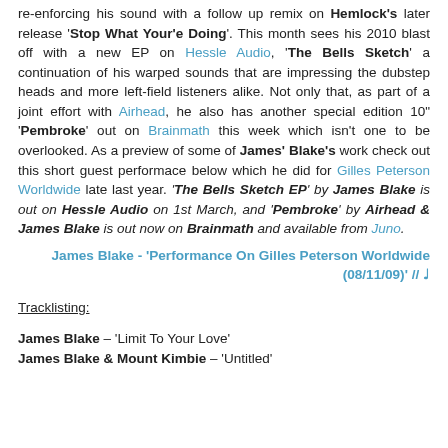re-enforcing his sound with a follow up remix on Hemlock's later release 'Stop What Your'e Doing'. This month sees his 2010 blast off with a new EP on Hessle Audio, 'The Bells Sketch' a continuation of his warped sounds that are impressing the dubstep heads and more left-field listeners alike. Not only that, as part of a joint effort with Airhead, he also has another special edition 10" 'Pembroke' out on Brainmath this week which isn't one to be overlooked. As a preview of some of James' Blake's work check out this short guest performace below which he did for Gilles Peterson Worldwide late last year. 'The Bells Sketch EP' by James Blake is out on Hessle Audio on 1st March, and 'Pembroke' by Airhead & James Blake is out now on Brainmath and available from Juno.
James Blake - 'Performance On Gilles Peterson Worldwide (08/11/09)' // ♩
Tracklisting:
James Blake – 'Limit To Your Love'
James Blake & Mount Kimbie – 'Untitled'